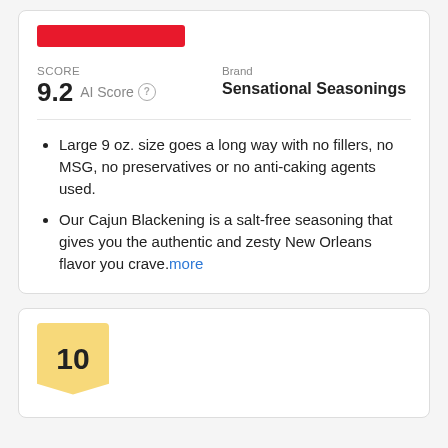[Figure (other): Red bar/button at top of product card]
SCORE
9.2 AI Score
Brand
Sensational Seasonings
Large 9 oz. size goes a long way with no fillers, no MSG, no preservatives or no anti-caking agents used.
Our Cajun Blackening is a salt-free seasoning that gives you the authentic and zesty New Orleans flavor you crave.more
10